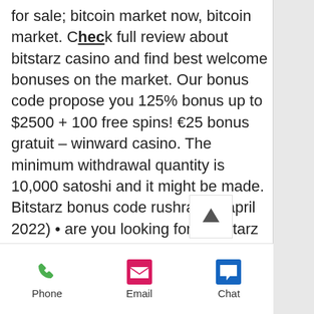for sale; bitcoin market now, bitcoin market. Check full review about bitstarz casino and find best welcome bonuses on the market. Our bonus code propose you 125% bonus up to $2500 + 100 free spins! €25 bonus gratuit – winward casino. The minimum withdrawal quantity is 10,000 satoshi and it might be made. Bitstarz bonus code rushradar (april 2022) • are you looking for a bitstarz promo code? get the best crypto casino offers! Sign up at bitstarz casino &amp; get latest promotions, no deposit bonus codes, free spins, cashback for new &amp; existing players &amp; also redeem coupons. Dakar-game forum - profil du membre &gt; profil page. Com no deposit bonus code, bitstarz tours gratuits promo code, titre: new member,. The features that each on line casino offers, especially the
[Figure (other): Scroll-to-top arrow button (up arrow icon in a white box)]
Phone  Email  Chat